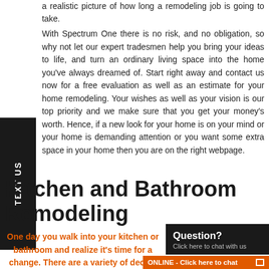a realistic picture of how long a remodeling job is going to take.
With Spectrum One there is no risk, and no obligation, so why not let our expert tradesmen help you bring your ideas to life, and turn an ordinary living space into the home you've always dreamed of. Start right away and contact us now for a free evaluation as well as an estimate for your home remodeling. Your wishes as well as your vision is our top priority and we make sure that you get your money's worth. Hence, if a new look for your home is on your mind or your home is demanding attention or you want some extra space in your home then you are on the right webpage.
Kitchen and Bathroom Remodeling
One day you walk into your kitchen or bathroom and realize it's time for a change. There are a variety of decide to hire a general contractor for a kitchen and bathroom remodeling job, but the goal is usually t
[Figure (screenshot): Chat widget with black background showing 'Question? Click here to chat with us' and an orange bar at bottom saying 'ONLINE - Click here to chat' with a box icon]